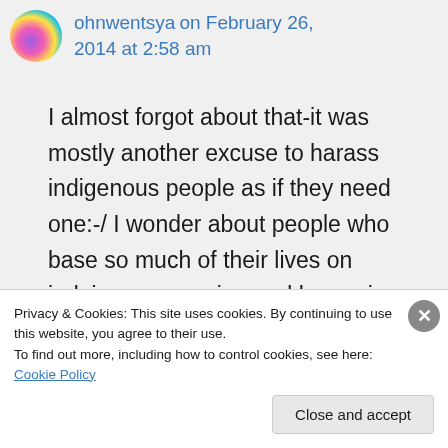ohnwentsya on February 26, 2014 at 2:58 am
I almost forgot about that-it was mostly another excuse to harass indigenous people as if they need one:-/ I wonder about people who base so much of their lives on judging, oppressing and harassing others. What must be going on inside their
Privacy & Cookies: This site uses cookies. By continuing to use this website, you agree to their use.
To find out more, including how to control cookies, see here: Cookie Policy
Close and accept